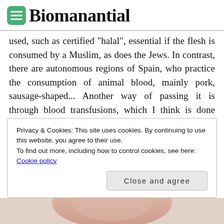Biomanantial
used, such as certified "halal", essential if the flesh is consumed by a Muslim, as does the Jews. In contrast, there are autonomous regions of Spain, who practice the consumption of animal blood, mainly pork, sausage-shaped... Another way of passing it is through blood transfusions, which I think is done lightly and not meditate on the real effects of these practices, which certainly can cause trauma to the patient, especially at a time when the patient is
Privacy & Cookies: This site uses cookies. By continuing to use this website, you agree to their use.
To find out more, including how to control cookies, see here: Cookie policy
[Figure (photo): Partial image of a person's skin/body, cropped at bottom of page]